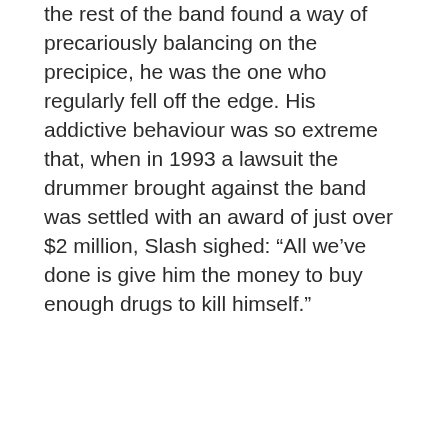the rest of the band found a way of precariously balancing on the precipice, he was the one who regularly fell off the edge. His addictive behaviour was so extreme that, when in 1993 a lawsuit the drummer brought against the band was settled with an award of just over $2 million, Slash sighed: “All we’ve done is give him the money to buy enough drugs to kill himself.”